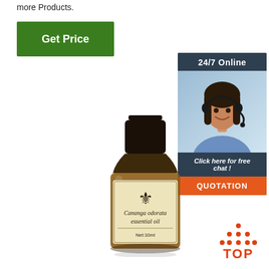more Products.
Get Price
[Figure (illustration): 24/7 Online chat widget with a smiling woman wearing a headset, and a QUOTATION button]
[Figure (photo): A small amber glass bottle of Cananga odorata essential oil with a black cap and beige label, Net:10ml]
[Figure (illustration): TOP navigation icon with orange dots and orange text]